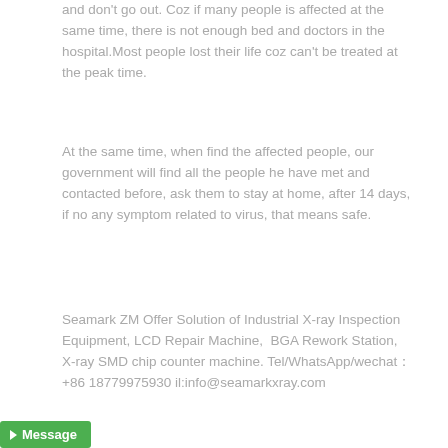and don't go out. Coz if many people is affected at the same time, there is not enough bed and doctors in the hospital.Most people lost their life coz can't be treated at the peak time.
At the same time, when find the affected people, our government will find all the people he have met and contacted before, ask them to stay at home, after 14 days, if no any symptom related to virus, that means safe.
Seamark ZM Offer Solution of Industrial X-ray Inspection Equipment, LCD Repair Machine,  BGA Rework Station, X-ray SMD chip counter machine. Tel/WhatsApp/wechat：+86 18779975930 il:info@seamarkxray.com